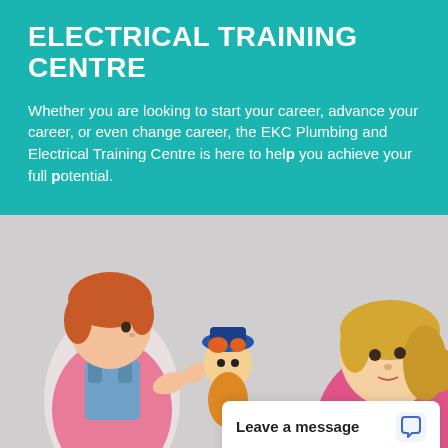ELECTRICAL TRAINING CENTRE
Whether you are looking to start your career, advance your career, or even change career, the EKC Plumbing and Electrical Training Centre is here to help you achieve your full potential.
[Figure (photo): A young toddler with red hair in pink shirt and dungarees holds a toy puppet toward a blonde woman in a pink top on the right side, against a light grey background.]
Leave a message